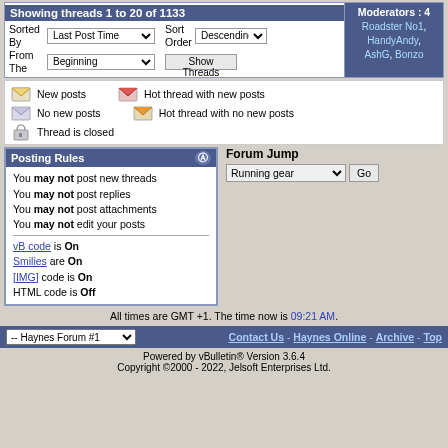Showing threads 1 to 20 of 1133
Moderators : 4
Sorted By: Last Post Time | Sort Order: Descending | From The: Beginning | Show Threads
Roadster No1, HandyAndy, AshG, Bonzo
[Figure (illustration): Forum thread status icons legend: New posts, Hot thread with new posts, No new posts, Hot thread with no new posts, Thread is closed]
Posting Rules
You may not post new threads
You may not post replies
You may not post attachments
You may not edit your posts
vB code is On
Smilies are On
[IMG] code is On
HTML code is Off
Forum Jump: Running gear | Go
All times are GMT +1. The time now is 09:21 AM.
-- Haynes Forum #1 | Contact Us - Haynes Online - Archive - Top
Powered by vBulletin® Version 3.6.4
Copyright ©2000 - 2022, Jelsoft Enterprises Ltd.